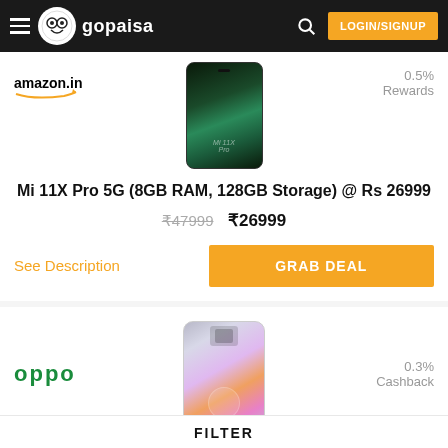gopaisa — LOGIN/SIGNUP
[Figure (screenshot): Mi 11X Pro 5G smartphone product photo on Amazon.in listing]
0.5% Rewards
Mi 11X Pro 5G (8GB RAM, 128GB Storage) @ Rs 26999
₹47999  ₹26999
See Description
GRAB DEAL
[Figure (screenshot): OPPO smartphone product photo listing]
0.3% Cashback
Oppo A1 Pro / Oppo phone deal listing text (partially visible)
FILTER